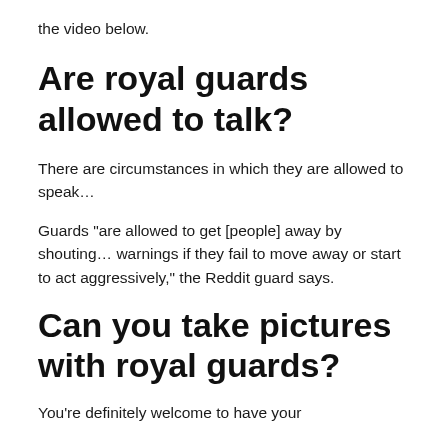the video below.
Are royal guards allowed to talk?
There are circumstances in which they are allowed to speak…
Guards “are allowed to get [people] away by shouting… warnings if they fail to move away or start to act aggressively,” the Reddit guard says.
Can you take pictures with royal guards?
You’re definitely welcome to have your